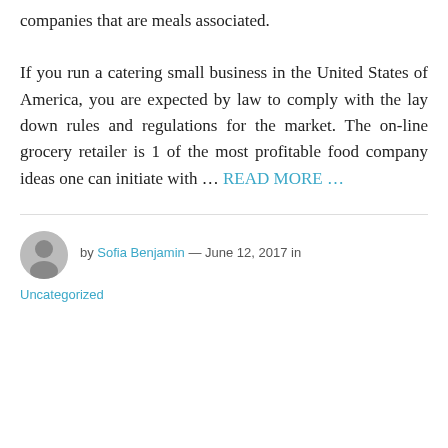companies that are meals associated.
If you run a catering small business in the United States of America, you are expected by law to comply with the lay down rules and regulations for the market. The on-line grocery retailer is 1 of the most profitable food company ideas one can initiate with … READ MORE …
by Sofia Benjamin — June 12, 2017 in
Uncategorized